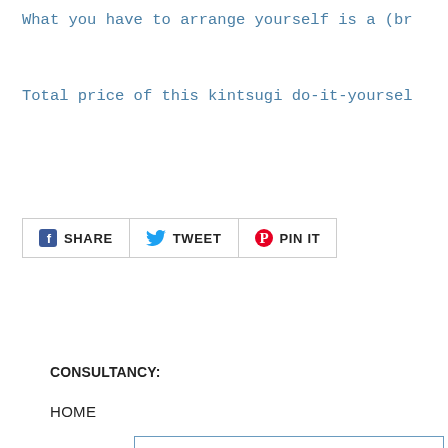What you have to arrange yourself is a (br
Total price of this kintsugi do-it-yoursel
[Figure (other): Social share buttons: SHARE (Facebook), TWEET (Twitter), PIN IT (Pinterest)]
← BACK TO REPAIR WORKSHOPS.
CONSULTANCY:
HOME